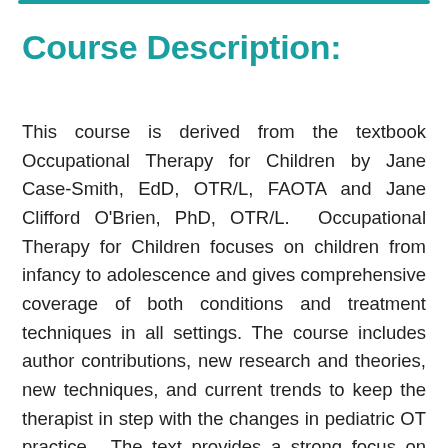Course Description:
This course is derived from the textbook Occupational Therapy for Children by Jane Case-Smith, EdD, OTR/L, FAOTA and Jane Clifford O'Brien, PhD, OTR/L.  Occupational Therapy for Children focuses on children from infancy to adolescence and gives comprehensive coverage of both conditions and treatment techniques in all settings. The course includes author contributions, new research and theories, new techniques, and current trends to keep the therapist in step with the changes in pediatric OT practice.  The text provides a strong focus on evidence-based practice with the addition of key research notes and explanations of the evidentiary basis for specific interventions.